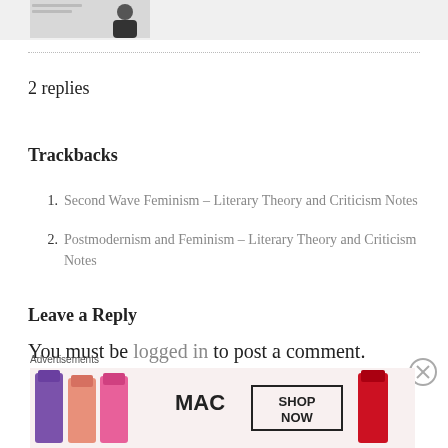[Figure (photo): Partial screenshot thumbnail showing a person in dark clothing against a light background]
2 replies
Trackbacks
Second Wave Feminism – Literary Theory and Criticism Notes
Postmodernism and Feminism – Literary Theory and Criticism Notes
Leave a Reply
You must be logged in to post a comment.
[Figure (photo): MAC Cosmetics advertisement showing lipsticks with SHOP NOW button]